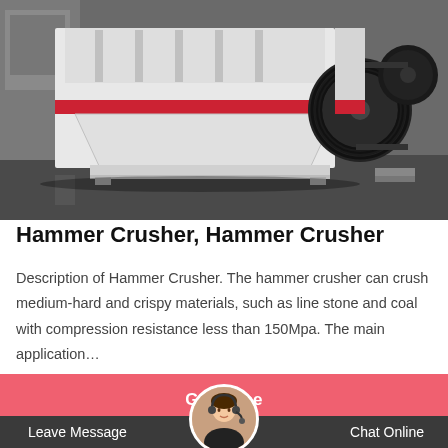[Figure (photo): Industrial hammer crusher machine, white and red colored, with large black pulleys/wheels on the right side, photographed in a factory or warehouse setting.]
Hammer Crusher, Hammer Crusher
Description of Hammer Crusher. The hammer crusher can crush medium-hard and crispy materials, such as line stone and coal with compression resistance less than 150Mpa. The main application…
Get Price
Leave Message
Chat Online